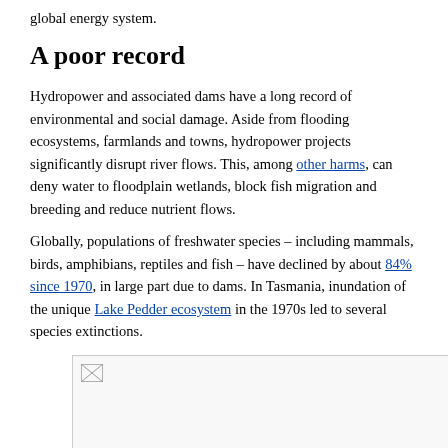global energy system.
A poor record
Hydropower and associated dams have a long record of environmental and social damage. Aside from flooding ecosystems, farmlands and towns, hydropower projects significantly disrupt river flows. This, among other harms, can deny water to floodplain wetlands, block fish migration and breeding and reduce nutrient flows.
Globally, populations of freshwater species – including mammals, birds, amphibians, reptiles and fish – have declined by about 84% since 1970, in large part due to dams. In Tasmania, inundation of the unique Lake Pedder ecosystem in the 1970s led to several species extinctions.
[Figure (photo): Image placeholder showing a photograph related to hydropower or lake ecosystem]